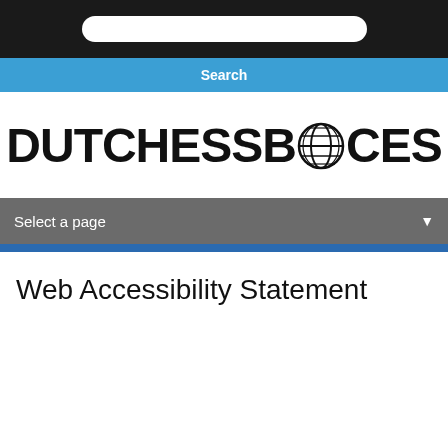[Figure (logo): Search bar input field on dark background]
Search
[Figure (logo): Dutchess BOCES logo with globe icon replacing the O in BOCES]
Select a page
Web Accessibility Statement